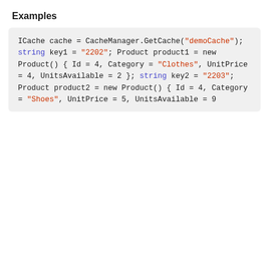Examples
ICache cache = CacheManager.GetCache("demoCache");

string key1 = "2202";

Product product1 = new Product()
{
    Id = 4,
    Category = "Clothes",
    UnitPrice = 4,
    UnitsAvailable = 2
};

string key2 = "2203";
Product product2 = new Product()
{
    Id = 4,
    Category = "Shoes",
    UnitPrice = 5,
    UnitsAvailable = 9